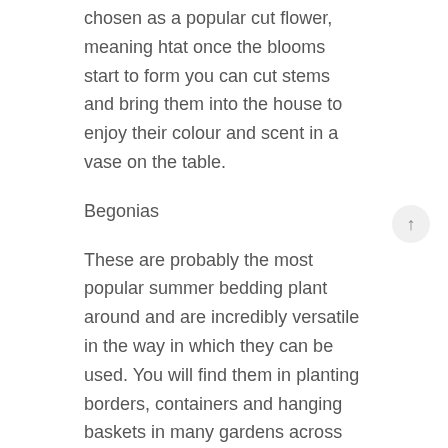chosen as a popular cut flower, meaning htat once the blooms start to form you can cut stems and bring them into the house to enjoy their colour and scent in a vase on the table.
Begonias
These are probably the most popular summer bedding plant around and are incredibly versatile in the way in which they can be used. You will find them in planting borders, containers and hanging baskets in many gardens across the country. Again you can a variety of colours and styles with some having feather edged flowers and some producing many small flowers and other larger flower varieties.
Geraniums
These are also incredibly popular this time of year and